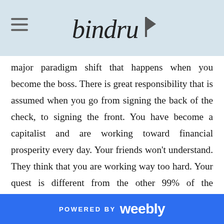bindrup (logo with hamburger menu)
major paradigm shift that happens when you become the boss. There is great responsibility that is assumed when you go from signing the back of the check, to signing the front. You have become a capitalist and are working toward financial prosperity every day. Your friends won't understand. They think that you are working way too hard. Your quest is different from the other 99% of the population. You feel alone. Guess what? You are not alone. These feelings of stress, and isolation are real and I want you to know that every business owner has these feelings. It's normal. Many come to visit with me and they unload their stress and emotions on me. As a business advisor and entrepreneur myself, I'm one of the few people who
POWERED BY weebly